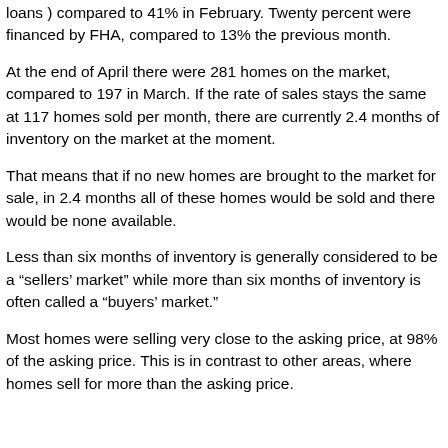loans ) compared to 41% in February. Twenty percent were financed by FHA, compared to 13% the previous month.
At the end of April there were 281 homes on the market, compared to 197 in March. If the rate of sales stays the same at 117 homes sold per month, there are currently 2.4 months of inventory on the market at the moment.
That means that if no new homes are brought to the market for sale, in 2.4 months all of these homes would be sold and there would be none available.
Less than six months of inventory is generally considered to be a “sellers’ market” while more than six months of inventory is often called a “buyers’ market.”
Most homes were selling very close to the asking price, at 98% of the asking price. This is in contrast to other areas, where homes sell for more than the asking price.